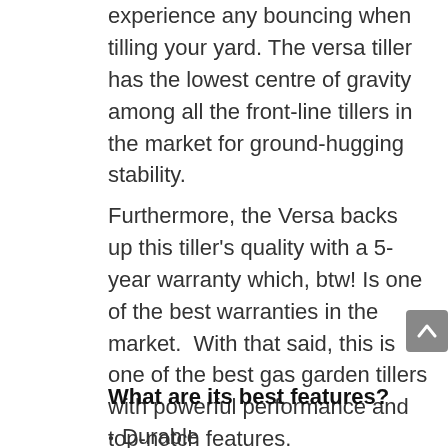experience any bouncing when tilling your yard. The versa tiller has the lowest centre of gravity among all the front-line tillers in the market for ground-hugging stability.
Furthermore, the Versa backs up this tiller's quality with a 5-year warranty which, btw! Is one of the best warranties in the market.  With that said, this is one of the best gas garden tillers with powerful performance and top-notch features.
What are its best features?
Durable